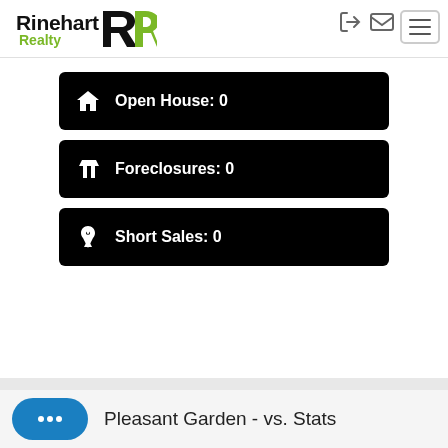Rinehart Realty
Open House: 0
Foreclosures: 0
Short Sales: 0
Pleasant Garden - vs. Stats